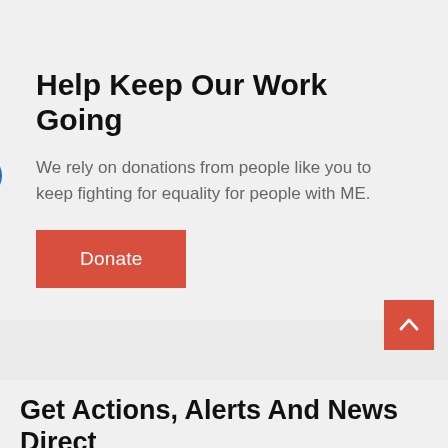Help Keep Our Work Going
We rely on donations from people like you to keep fighting for equality for people with ME.
[Figure (other): Red Donate button]
[Figure (other): Blue accessibility/help icon circle on left edge]
[Figure (other): Red scroll-to-top button with upward chevron arrow]
Get Actions, Alerts And News Direct